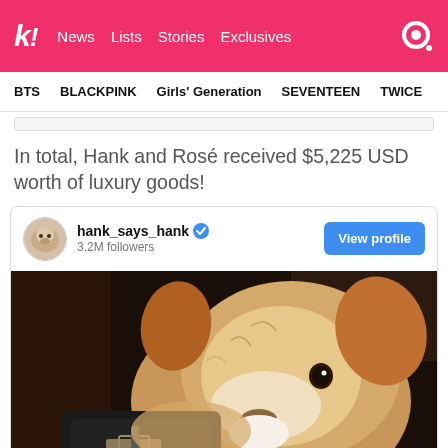k! News Lists Stories Exclusives
BTS BLACKPINK Girls' Generation SEVENTEEN TWICE
In total, Hank and Rosé received $5,225 USD worth of luxury goods!
[Figure (screenshot): Instagram embed card showing hank_says_hank profile with 3.2M followers and a View profile button, followed by a photo of a fluffy light brown/white terrier dog looking at the camera next to a black bag.]